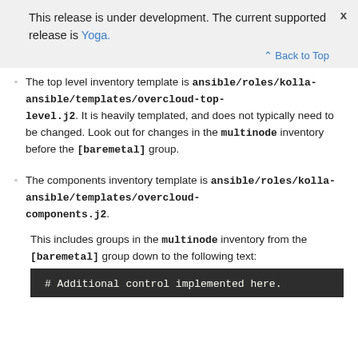This release is under development. The current supported release is Yoga.
The top level inventory template is ansible/roles/kolla-ansible/templates/overcloud-top-level.j2. It is heavily templated, and does not typically need to be changed. Look out for changes in the multinode inventory before the [baremetal] group.
The components inventory template is ansible/roles/kolla-ansible/templates/overcloud-components.j2.
This includes groups in the multinode inventory from the [baremetal] group down to the following text:
# Additional control implemented here.